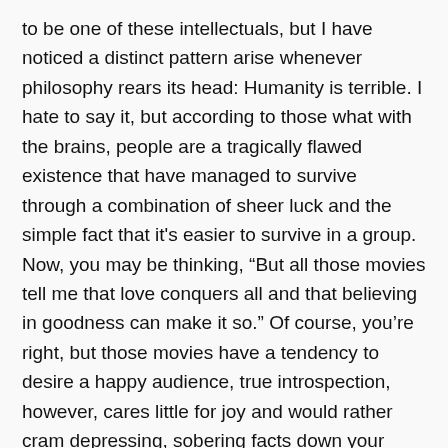to be one of these intellectuals, but I have noticed a distinct pattern arise whenever philosophy rears its head: Humanity is terrible. I hate to say it, but according to those what with the brains, people are a tragically flawed existence that have managed to survive through a combination of sheer luck and the simple fact that it's easier to survive in a group. Now, you may be thinking, “But all those movies tell me that love conquers all and that believing in goodness can make it so.” Of course, you’re right, but those movies have a tendency to desire a happy audience, true introspection, however, cares little for joy and would rather cram depressing, sobering facts down your throat until you choke on painful reality. Enter Genocidal Organ...
In a future not too distant from our own, civil [Light/Dark toggle] erupted in countries the world over, escalating at an